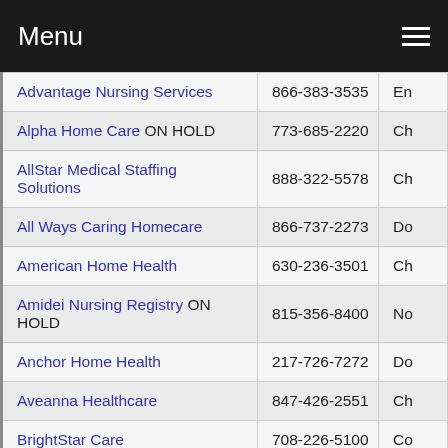Menu
| Agency Name | Phone | Type |
| --- | --- | --- |
| Advantage Nursing Services | 866-383-3535 | En |
| Alpha Home Care ON HOLD | 773-685-2220 | Ch |
| AllStar Medical Staffing Solutions | 888-322-5578 | Ch |
| All Ways Caring Homecare | 866-737-2273 | Do |
| American Home Health | 630-236-3501 | Ch |
| Amidei Nursing Registry ON HOLD | 815-356-8400 | No |
| Anchor Home Health | 217-726-7272 | Do |
| Aveanna Healthcare | 847-426-2551 | Ch |
| BrightStar Care | 708-226-5100 | Co |
| Caring Shepherds | 708-331-4214 | Ch |
| Carter's Care | 822-422-7827 | Ch |